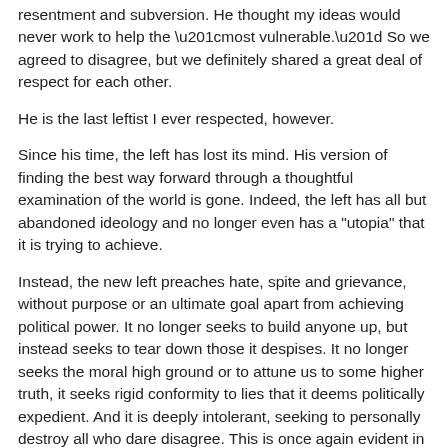resentment and subversion. He thought my ideas would never work to help the “most vulnerable.” So we agreed to disagree, but we definitely shared a great deal of respect for each other.
He is the last leftist I ever respected, however.
Since his time, the left has lost its mind. His version of finding the best way forward through a thoughtful examination of the world is gone. Indeed, the left has all but abandoned ideology and no longer even has a "utopia" that it is trying to achieve.
Instead, the new left preaches hate, spite and grievance, without purpose or an ultimate goal apart from achieving political power. It no longer seeks to build anyone up, but instead seeks to tear down those it despises. It no longer seeks the moral high ground or to attune us to some higher truth, it seeks rigid conformity to lies that it deems politically expedient. And it is deeply intolerant, seeking to personally destroy all who dare disagree. This is once again evident in recent events: